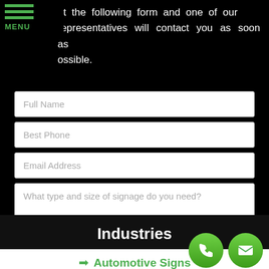MENU
ut the following form and one of our representatives will contact you as soon as possible.
[Figure (screenshot): Web contact form with fields: Full Name, Best Phone, Email Address, What type and size of signage do you need?, and a green REQUEST MY QUOTE button]
Industries
Automotive Signs
Bank Signs